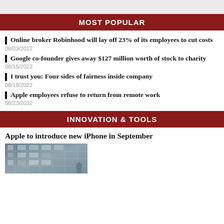MOST POPULAR
Online broker Robinhood will lay off 23% of its employees to cut costs — 08/03/2022
Google co-founder gives away $127 million worth of stock to charity — 08/15/2022
I trust you: Four sides of fairness inside company — 08/19/2022
Apple employees refuse to return from remote work — 08/23/2022
INNOVATION & TOOLS
Apple to introduce new iPhone in September
[Figure (photo): Photo of Apple building exterior with glass facade]